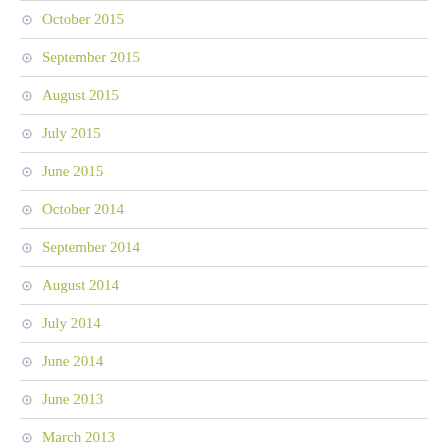October 2015
September 2015
August 2015
July 2015
June 2015
October 2014
September 2014
August 2014
July 2014
June 2014
June 2013
March 2013